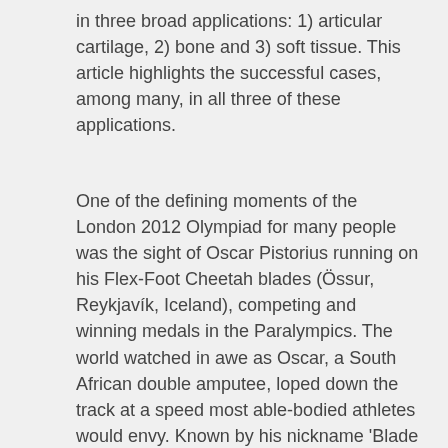in three broad applications: 1) articular cartilage, 2) bone and 3) soft tissue. This article highlights the successful cases, among many, in all three of these applications.
One of the defining moments of the London 2012 Olympiad for many people was the sight of Oscar Pistorius running on his Flex-Foot Cheetah blades (Össur, Reykjavík, Iceland), competing and winning medals in the Paralympics. The world watched in awe as Oscar, a South African double amputee, loped down the track at a speed most able-bodied athletes would envy. Known by his nickname 'Blade Runner', Oscar showed the world not only his athleticism and sporting dedication but the wonders of modern limb replacement technology. However, there was another winning athlete at the 2012 London Olympic Games of equal commitment and sporting prowess but whom no one would have